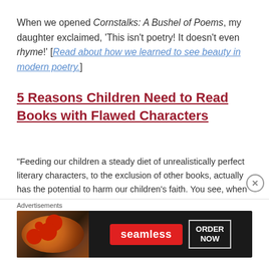When we opened Cornstalks: A Bushel of Poems, my daughter exclaimed, 'This isn't poetry! It doesn't even rhyme!' [Read about how we learned to see beauty in modern poetry.]
5 Reasons Children Need to Read Books with Flawed Characters
“Feeding our children a steady diet of unrealistically perfect literary characters, to the exclusion of other books, actually has the potential to harm our children’s faith. You see, when children are presented with a constant stream of flawless literary characters who do no wrong and face no struggles—or who overcome overly-simplistic struggles in a formulaic
Advertisements
[Figure (other): Seamless food delivery advertisement banner showing pizza on the left, Seamless logo in the center, and ORDER NOW button on the right, dark background]